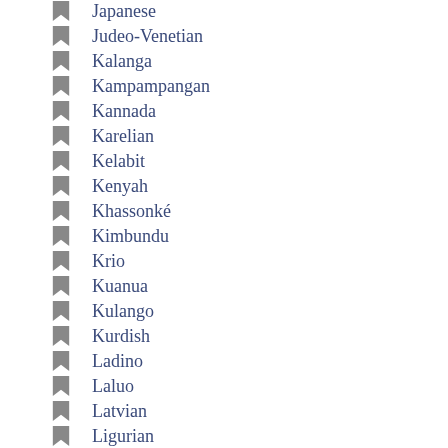Japanese
Judeo-Venetian
Kalanga
Kampampangan
Kannada
Karelian
Kelabit
Kenyah
Khassonké
Kimbundu
Krio
Kuanua
Kulango
Kurdish
Ladino
Laluo
Latvian
Ligurian
Lingala